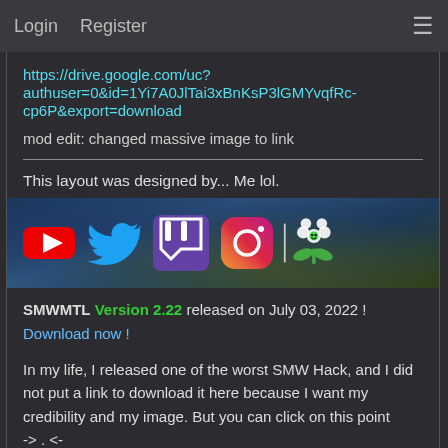Login   Register   ☰
https://drive.google.com/uc?authuser=0&id=1Yi7A0JlTai3xBnKsP3lGMYvqfRc-cp6P&export=download
mod edit: changed massive image to link
This layout was designed by... Me lol.
[Figure (other): Social media icons: YouTube, Twitter, Twitch, Instagram, and a Mario flower icon, on a blurred cityscape background]
SMWMTL Version 2.22 released on July 03, 2022 ! Download now !
In my life, I released one of the worst SMW Hack, and I did not put a link to download it here because I want my credibility and my image. But you can click on this point -> . <-